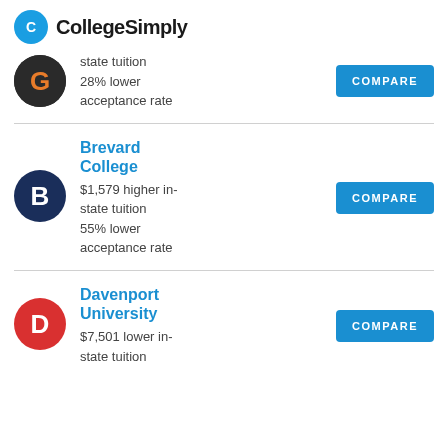CollegeSimply
state tuition
28% lower acceptance rate
Brevard College
$1,579 higher in-state tuition
55% lower acceptance rate
Davenport University
$7,501 lower in-state tuition